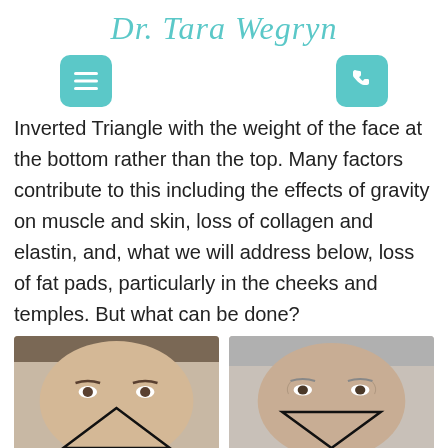Dr. Tara Wegryn
[Figure (infographic): Navigation icons: hamburger menu button (teal) on left, phone icon button (teal) on right]
Inverted Triangle with the weight of the face at the bottom rather than the top. Many factors contribute to this including the effects of gravity on muscle and skin, loss of collagen and elastin, and, what we will address below, loss of fat pads, particularly in the cheeks and temples. But what can be done?
[Figure (photo): Two side-by-side face illustrations showing the inverted triangle of youth (left, younger face with triangle pointing up) and the inverted triangle of aging (right, older face with triangle pointing up from chin)]